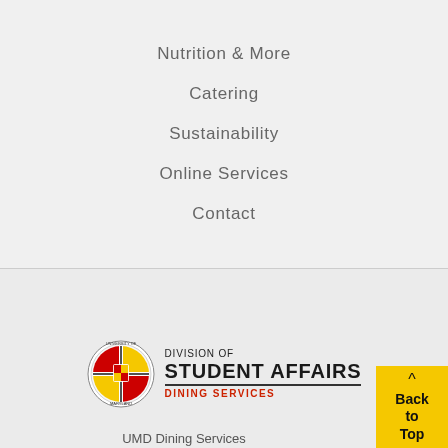Nutrition & More
Catering
Sustainability
Online Services
Contact
[Figure (logo): University of Maryland Division of Student Affairs Dining Services logo with UMD seal]
Back to Top
UMD Dining Services